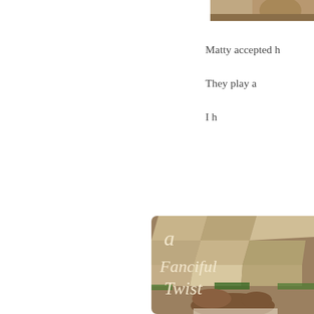[Figure (photo): Partial view of a photo at top right, showing what appears to be an animal (cat or dog), cropped at page edge]
Matty accepted h
They play a
I h
[Figure (illustration): Book cover for 'A Fanciful Twist' showing a cat sitting on stone pavers with grass, with cursive white/cream text overlay on the cover image]